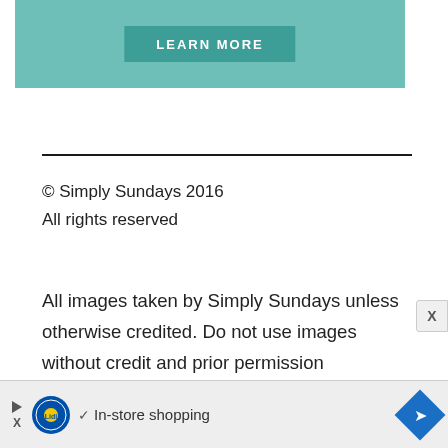[Figure (screenshot): Teal/mint green banner with a 'LEARN MORE' button in darker teal]
© Simply Sundays 2016
All rights reserved
All images taken by Simply Sundays unless otherwise credited. Do not use images without credit and prior permission
[Figure (screenshot): Advertisement banner at the bottom: Lidl logo, checkmark, 'In-store shopping' text, navigation arrow icon, and close X button]